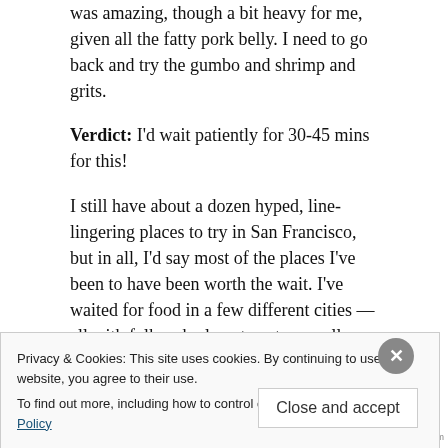was amazing, though a bit heavy for me, given all the fatty pork belly. I need to go back and try the gumbo and shrimp and grits.
Verdict: I'd wait patiently for 30-45 mins for this!
I still have about a dozen hyped, line-lingering places to try in San Francisco, but in all, I'd say most of the places I've been to have been worth the wait. I've waited for food in a few different cities — all with folks who love to eat, so really, it's not just San Franciscans that “love” waiting in lines. It comes down to how patient you are for the prize 😉
Privacy & Cookies: This site uses cookies. By continuing to use this website, you agree to their use.
To find out more, including how to control cookies, see here: Cookie Policy
Close and accept